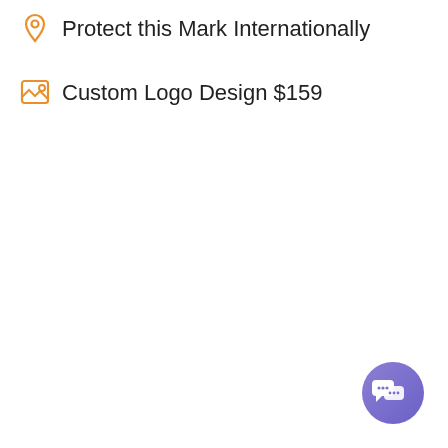Protect this Mark Internationally
Custom Logo Design $159
[Figure (other): Purple circular chat support button in bottom-right corner]